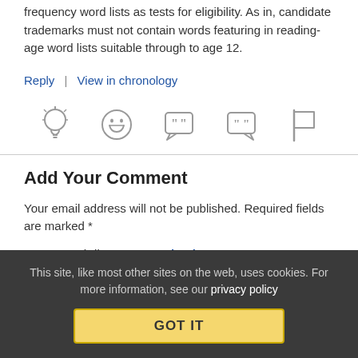frequency word lists as tests for eligibility. As in, candidate trademarks must not contain words featuring in reading-age word lists suitable through to age 12.
Reply | View in chronology
[Figure (infographic): Row of 5 icon buttons: lightbulb, laughing face, quote bubble left, quote bubble right, flag]
Add Your Comment
Your email address will not be published. Required fields are marked *
Have a Techdirt Account? Sign in now. Want one? Register here
This site, like most other sites on the web, uses cookies. For more information, see our privacy policy GOT IT